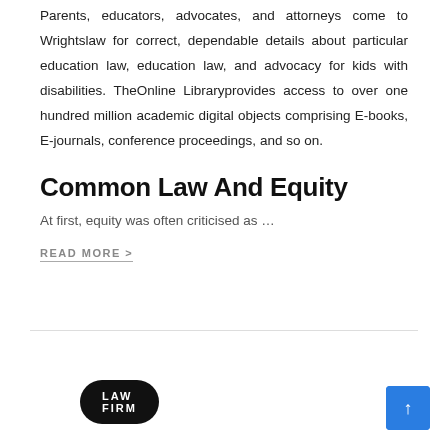Parents, educators, advocates, and attorneys come to Wrightslaw for correct, dependable details about particular education law, education law, and advocacy for kids with disabilities. TheOnline Libraryprovides access to over one hundred million academic digital objects comprising E-books, E-journals, conference proceedings, and so on.
Common Law And Equity
At first, equity was often criticised as …
READ MORE >
LAW FIRM